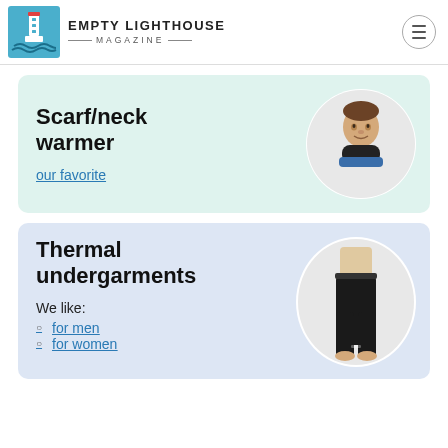EMPTY LIGHTHOUSE MAGAZINE
Scarf/neck warmer
our favorite
[Figure (photo): Man wearing a black neck warmer/scarf, circular cropped portrait photo]
Thermal undergarments
We like:
for men
for women
[Figure (photo): Man wearing black thermal leggings/undergarment pants, circular cropped photo]